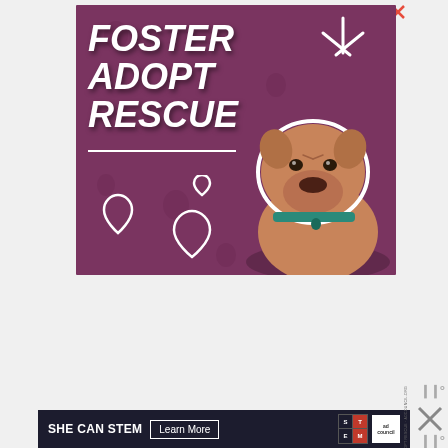[Figure (illustration): Animal rescue advertisement banner with purple background showing a pit bull dog with teal collar. Text reads FOSTER ADOPT RESCUE in large white bold italic letters, with decorative heart outlines and spark lines. White horizontal rule under text.]
[Figure (illustration): SHE CAN STEM ad council banner advertisement in dark navy background with white text SHE CAN STEM, a Learn More button, STEM logo grid, and Ad Council logo.]